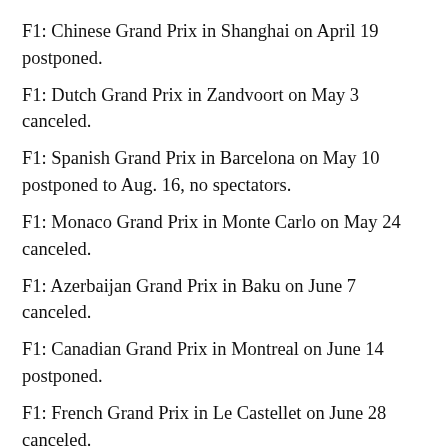F1: Chinese Grand Prix in Shanghai on April 19 postponed.
F1: Dutch Grand Prix in Zandvoort on May 3 canceled.
F1: Spanish Grand Prix in Barcelona on May 10 postponed to Aug. 16, no spectators.
F1: Monaco Grand Prix in Monte Carlo on May 24 canceled.
F1: Azerbaijan Grand Prix in Baku on June 7 canceled.
F1: Canadian Grand Prix in Montreal on June 14 postponed.
F1: French Grand Prix in Le Castellet on June 28 canceled.
F1: British Grand Prix in Silverstone on July 19 moved to Aug. 2, no spectators.
F1: Hungarian Grand Prix in Mogyoród on Aug. 2 moved to July 19, no spectators.
F1: Belgian Grand Prix in Francorchamps on Aug. 30, no spectators.